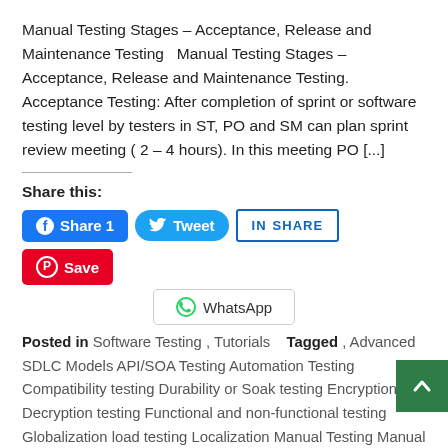Manual Testing Stages – Acceptance, Release and Maintenance Testing   Manual Testing Stages – Acceptance, Release and Maintenance Testing. Acceptance Testing: After completion of sprint or software testing level by testers in ST, PO and SM can plan sprint review meeting ( 2 – 4 hours). In this meeting PO [...]
Share this:
[Figure (other): Social share buttons: Facebook Share 1, Tweet, LinkedIn SHARE, Pinterest Save, WhatsApp]
Posted in Software Testing , Tutorials   Tagged , Advanced SDLC Models API/SOA Testing Automation Testing Compatibility testing Durability or Soak testing Encryption and Decryption testing Functional and non-functional testing Globalization load testing Localization Manual Testing Manual testing for beginners Manual testing tutorials Manual to automation Multilanguity testing Old SDLC Models performance testing Prototype Model SDLC Life cycle models Security testing SOA Software Development Life Cycle Software Testing Spike testing Sprint or software testing Stress